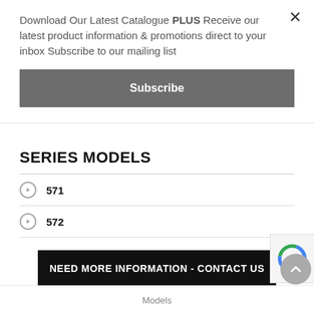Download Our Latest Catalogue PLUS Receive our latest product information & promotions direct to your inbox Subscribe to our mailing list
Subscribe
SERIES MODELS
571
572
NEED MORE INFORMATION - CONTACT US
Models